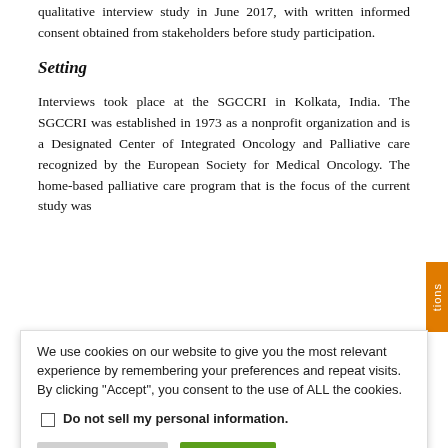qualitative interview study in June 2017, with written informed consent obtained from stakeholders before study participation.
Setting
Interviews took place at the SGCCRI in Kolkata, India. The SGCCRI was established in 1973 as a nonprofit organization and is a Designated Center of Integrated Oncology and Palliative care recognized by the European Society for Medical Oncology. The home-based palliative care program that is the focus of the current study was
We use cookies on our website to give you the most relevant experience by remembering your preferences and repeat visits. By clicking "Accept", you consent to the use of ALL the cookies.
Do not sell my personal information.